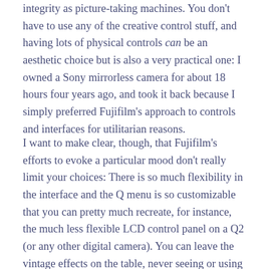integrity as picture-taking machines. You don't have to use any of the creative control stuff, and having lots of physical controls can be an aesthetic choice but is also a very practical one: I owned a Sony mirrorless camera for about 18 hours four years ago, and took it back because I simply preferred Fujifilm's approach to controls and interfaces for utilitarian reasons.
I want to make clear, though, that Fujifilm's efforts to evoke a particular mood don't really limit your choices: There is so much flexibility in the interface and the Q menu is so customizable that you can pretty much recreate, for instance, the much less flexible LCD control panel on a Q2 (or any other digital camera). You can leave the vintage effects on the table, never seeing or using them. As much as Fujifilm is making it easy for you to take your photos in a sort of vintage-y direction, it is not making one-note novelty toys.